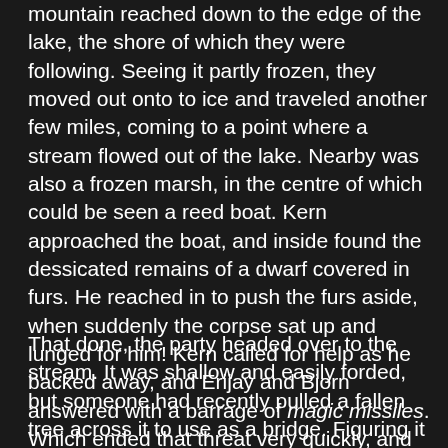mountain reached down to the edge of the lake, the shore of which they were following. Seeing it partly frozen, they moved out onto to ice and traveled another few miles, coming to a point where a stream flowed out of the lake. Nearby was also a frozen marsh, in the centre of which could be seen a reed boat. Kern approached the boat, and inside found the dessicated remains of a dwarf covered in furs. He reached in to push the furs aside, when suddenly the corpse sat up and lunged for him! Kern called for help as he backed away, and Erijay and Bjorn answered with a barrage of magic missiles. Which ended that threat very quickly, and the corpse disintegrated into dust and rags. Which Kern pushed aside to uncover a find woven reed mat studded with small malachite gems.
That done, the party headed over to the stream. It was shallow and easily forded, but someone had recently pulled a fallen tree across it to use as a bridge. Figuring it must have been Duncal, they crossed over, and climbed into the wooded pass that led to the south-west. After several more hours riding, the sun was setting and the trio began thinking of setting up camp. Ahead they could see a crude collection